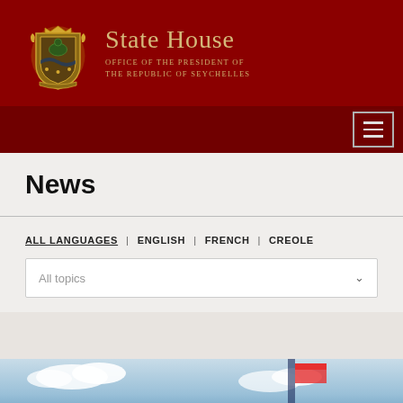[Figure (logo): State House coat of arms / crest logo in gold on dark red background, with text 'State House' and 'OFFICE OF THE PRESIDENT OF THE REPUBLIC OF SEYCHELLES']
State House | OFFICE OF THE PRESIDENT OF THE REPUBLIC OF SEYCHELLES
[Figure (screenshot): Navigation hamburger menu button (three horizontal lines) on dark red background bar]
News
ALL LANGUAGES | ENGLISH | FRENCH | CREOLE
All topics
[Figure (photo): Partial photo visible at bottom of page showing sky and what appears to be a flag or banner]